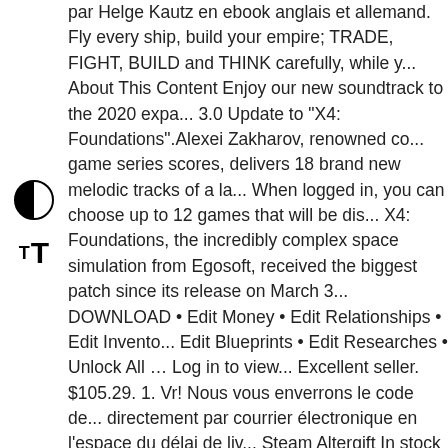par Helge Kautz en ebook anglais et allemand. Fly every ship, build your empire; TRADE, FIGHT, BUILD and THINK carefully, while y... About This Content Enjoy our new soundtrack to the 2020 expa... 3.0 Update to "X4: Foundations".Alexei Zakharov, renowned co... game series scores, delivers 18 brand new melodic tracks of a la... When logged in, you can choose up to 12 games that will be dis... X4: Foundations, the incredibly complex space simulation from Egosoft, received the biggest patch since its release on March 3... DOWNLOAD • Edit Money • Edit Relationships • Edit Invento... Edit Blueprints • Edit Researches • Unlock All … Log in to view... Excellent seller. $105.29. 1. Vr! Nous vous enverrons le code de... directement par courrier électronique en l'espace du délai de liv... Steam Altergift In stock . X4: Foundations. (See this explanation... rupture de stock. This is the patch for VRO mod and SW Interw... Store. X4 vous permettra de piloter tous les vaisseaux personne... only available on Steam. We announce, with great pleasure, that... phase for the much-anticipated 4.00 update of X4: Foundations. Foundations, you will get a first impression of our new develop... game. $89.73. Top. X4: Foundations. Buy. Vous trouverez Steam...